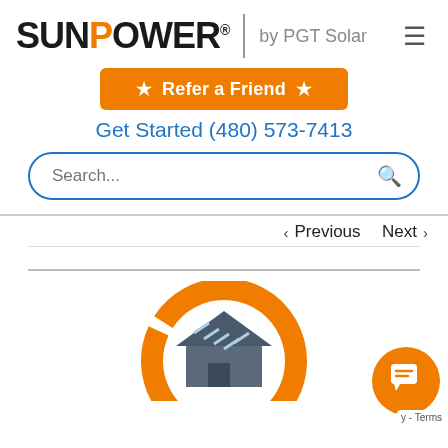[Figure (logo): SunPower by PGT Solar logo with orange accent on 'O' in SUNPOWER]
[Figure (illustration): Orange 'Refer a Friend' button with star icons]
Get Started (480) 573-7413
Search...
< Previous   Next >
[Figure (illustration): Partial illustration of a house with solar panels inside an orange circular frame, and an orange chat widget in the bottom right corner with a 'Terms' label]